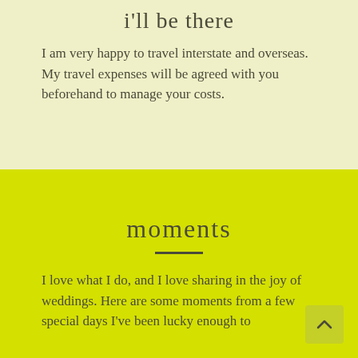i'll be there
I am very happy to travel interstate and overseas. My travel expenses will be agreed with you beforehand to manage your costs.
moments
I love what I do, and I love sharing in the joy of weddings. Here are some moments from a few special days I've been lucky enough to